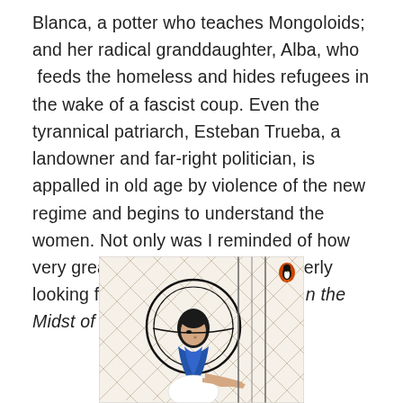Blanca, a potter who teaches Mongoloids; and her radical granddaughter, Alba, who  feeds the homeless and hides refugees in the wake of a fascist coup. Even the tyrannical patriarch, Esteban Trueba, a landowner and far-right politician, is appalled in old age by violence of the new regime and begins to understand the women. Not only was I reminded of how very great Allende is, but I am eagerly looking forward to her new novel, In the Midst of Winter (October).
[Figure (illustration): Book cover illustration showing a stylized figure of a woman wearing a large round hat with blue scarf, seated against a background of diamond/lattice pattern lines. A small Penguin Books logo (orange penguin) appears in the upper right corner of the cover image.]